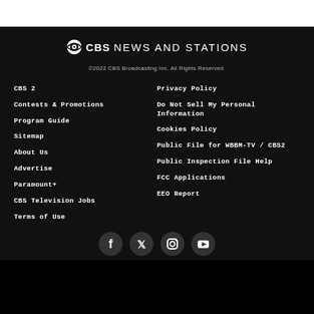[Figure (logo): CBS eye logo with text CBS NEWS AND STATIONS]
©2022 CBS Broadcasting Inc. All Rights Reserved.
CBS 2
Contests & Promotions
Program Guide
Sitemap
About Us
Advertise
Paramount+
CBS Television Jobs
Terms of Use
Privacy Policy
Do Not Sell My Personal Information
Cookies Policy
Public File for WBBM-TV / CBS2
Public Inspection File Help
FCC Applications
EEO Report
[Figure (illustration): Social media icons: Facebook, Twitter, Instagram, YouTube]